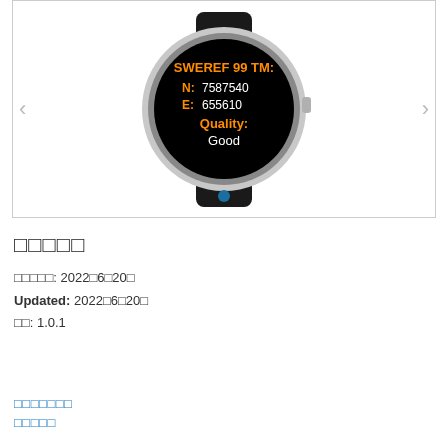[Figure (photo): A Garmin smartwatch displaying GPS coordinates in SWEREF 99 TM format. The watch screen shows: 'SWEREF 99 TM:' in orange, 'N: 7587540' in white, 'E: 655610' in white, 'Quality:' in orange, 'Good' in white. The watch has a silver bezel and black strap. Navigation arrows (< >) are on either side, and a blue dot indicator is below the image.]
□□□□□
□□□□□: 2022□6□20□
Updated: 2022□6□20□
□□: 1.0.1
□□□□□□□
□□□□□